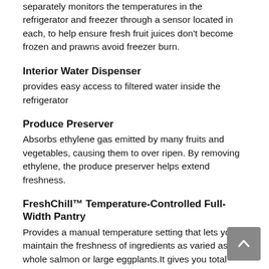separately monitors the temperatures in the refrigerator and freezer through a sensor located in each, to help ensure fresh fruit juices don't become frozen and prawns avoid freezer burn.
Interior Water Dispenser
provides easy access to filtered water inside the refrigerator
Produce Preserver
Absorbs ethylene gas emitted by many fruits and vegetables, causing them to over ripen. By removing ethylene, the produce preserver helps extend freshness.
FreshChill™ Temperature-Controlled Full-Width Pantry
Provides a manual temperature setting that lets you maintain the freshness of ingredients as varied as a whole salmon or large eggplants.It gives you total control over of the amount of cool air that enters the drawer.
Humidity-Controlled Crispers